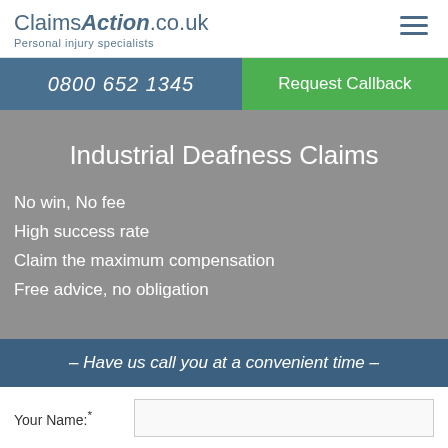Claims Action .co.uk — Personal injury specialists
0800 652 1345
Request Callback
Industrial Deafness Claims
No win, No fee
High success rate
Claim the maximum compensation
Free advice, no obligation
– Have us call you at a convenient time –
Your Name:*